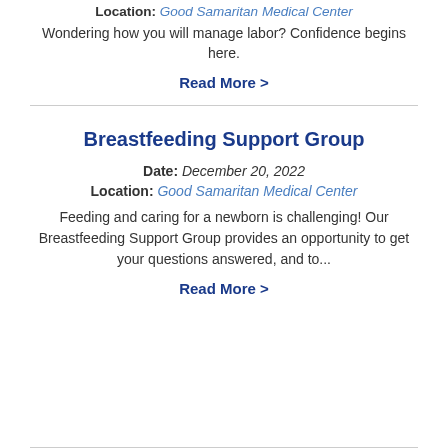Location: Good Samaritan Medical Center
Wondering how you will manage labor? Confidence begins here.
Read More >
Breastfeeding Support Group
Date: December 20, 2022
Location: Good Samaritan Medical Center
Feeding and caring for a newborn is challenging! Our Breastfeeding Support Group provides an opportunity to get your questions answered, and to...
Read More >